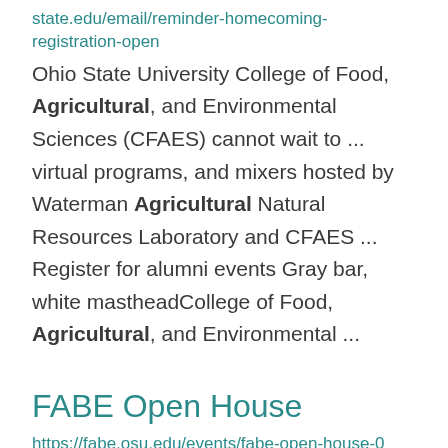state.edu/email/reminder-homecoming-registration-open
Ohio State University College of Food, Agricultural, and Environmental Sciences (CFAES) cannot wait to ... virtual programs, and mixers hosted by Waterman Agricultural Natural Resources Laboratory and CFAES ... Register for alumni events Gray bar, white mastheadCollege of Food, Agricultural, and Environmental ...
FABE Open House
https://fabe.osu.edu/events/fabe-open-house-0
Agricultural Engineering Building located on mid-west campus (just across the